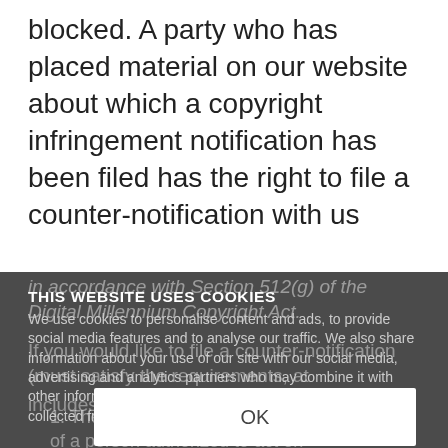blocked. A party who has placed material on our website about which a copyright infringement notification has been filed has the right to file a counter-notification with us
in accordance with Section 512(g) of the Digital Millennium Copyright Act.
If you would like to file a counter-notification, the counter-notification (must satisfy the requirements set forth in that statute, at
includes the following items:
THIS WEBSITE USES COOKIES
We use cookies to personalise content and ads, to provide social media features and to analyse our traffic. We also share information about your use of our site with our social media, advertising and analytics partners who may combine it with other information that you've provided to them or that they've collected from your use of their services.
OK
1.  The signature (either physical or electronic) of a person authorized to act on